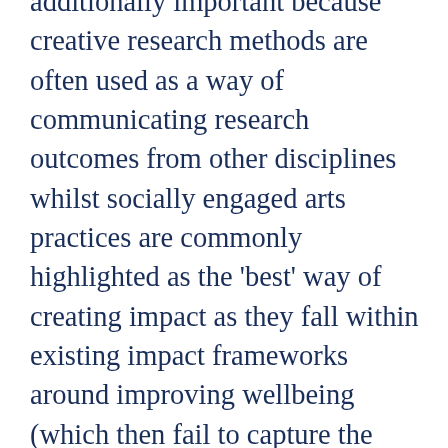additionally important because creative research methods are often used as a way of communicating research outcomes from other disciplines whilst socially engaged arts practices are commonly highlighted as the 'best' way of creating impact as they fall within existing impact frameworks around improving wellbeing (which then fail to capture the more radical outcomes of such work). If we don't change the way impact from creative research is understood and captured we risk losing valuable and meaningful insights into how research can make a difference to people's lives as already Arts and Humanities researchers are driven by systems such as the REF